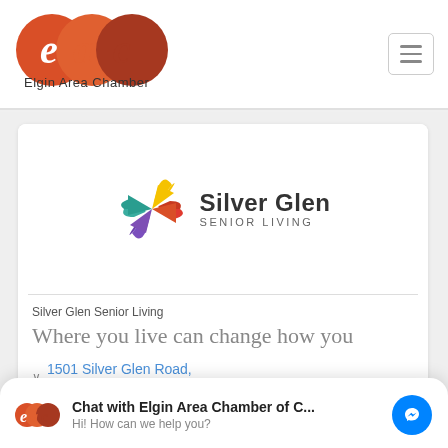[Figure (logo): Elgin Area Chamber (EAC) logo — three overlapping circles in orange/red tones with letters e, a, c, and text 'Elgin Area Chamber' below]
[Figure (logo): Silver Glen Senior Living logo — colorful pinwheel/star shape with four petals in yellow, red/orange, teal/purple and text 'Silver Glen SENIOR LIVING']
Silver Glen Senior Living
Where you live can change how you
Chat with Elgin Area Chamber of C... Hi! How can we help you?
1501 Silver Glen Road, South Elgin, IL 60177